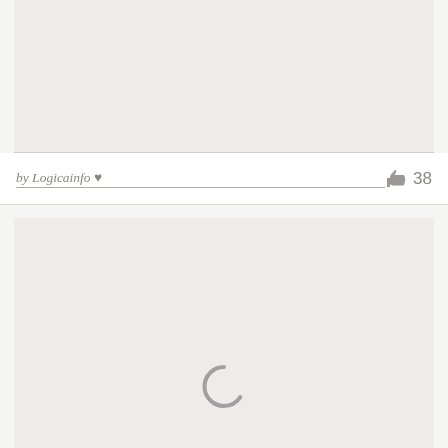[Figure (other): Top image placeholder block, light gray background]
by Logicainfo ♥  👍 38
[Figure (other): Bottom image placeholder block with loading spinner, light gray background]